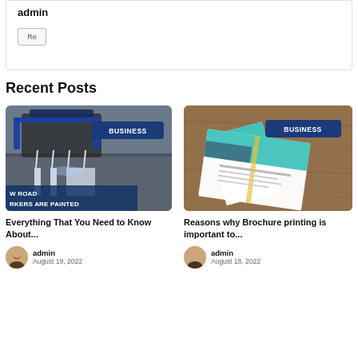admin
Re
Recent Posts
[Figure (photo): Road marking machine painting lines on pavement. Badge: BUSINESS. Overlay text: W ROAD / RKERS ARE PAINTED]
Everything That You Need to Know About...
admin
August 19, 2022
[Figure (photo): Trifold brochures on a wooden surface. Badge: BUSINESS.]
Reasons why Brochure printing is important to...
admin
August 18, 2022